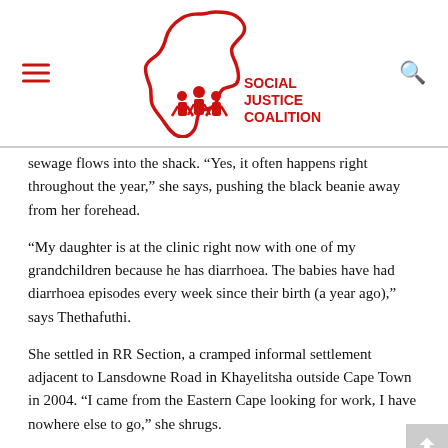[Figure (logo): Social Justice Coalition logo — red outline of African continent with red figures and text 'SOCIAL JUSTICE COALITION']
sewage flows into the shack. “Yes, it often happens right throughout the year,” she says, pushing the black beanie away from her forehead.
“My daughter is at the clinic right now with one of my grandchildren because he has diarrhoea. The babies have had diarrhoea episodes every week since their birth (a year ago),” says Thethafuthi.
She settled in RR Section, a cramped informal settlement adjacent to Lansdowne Road in Khayelitsha outside Cape Town in 2004. “I came from the Eastern Cape looking for work, I have nowhere else to go,” she shrugs.